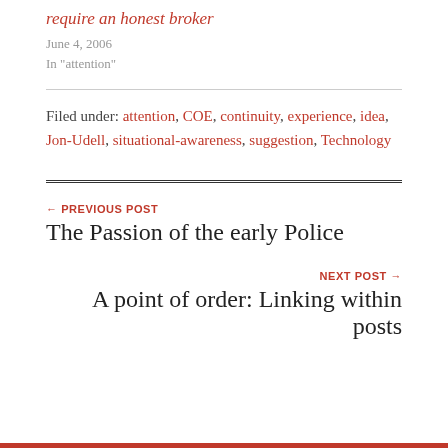require an honest broker
June 4, 2006
In "attention"
Filed under: attention, COE, continuity, experience, idea, Jon-Udell, situational-awareness, suggestion, Technology
← PREVIOUS POST
The Passion of the early Police
NEXT POST →
A point of order: Linking within posts